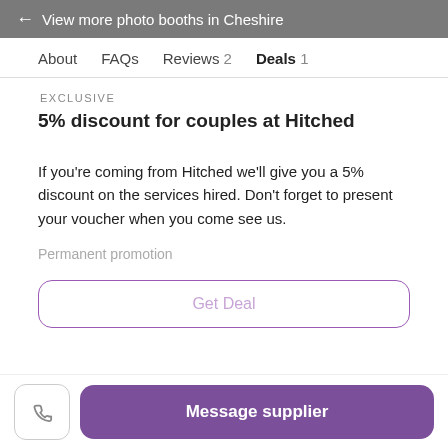← View more photo booths in Cheshire
About   FAQs   Reviews 2   Deals 1
EXCLUSIVE
5% discount for couples at Hitched
If you're coming from Hitched we'll give you a 5% discount on the services hired. Don't forget to present your voucher when you come see us.
Permanent promotion
Get Deal
Message supplier